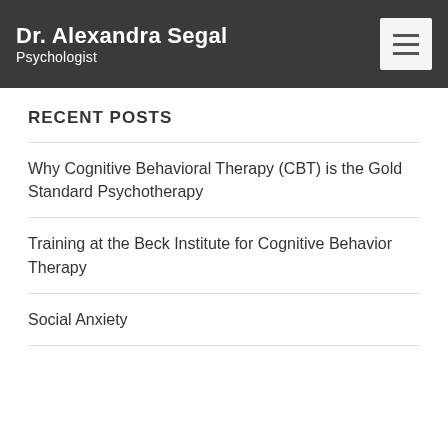Dr. Alexandra Segal
Psychologist
RECENT POSTS
Why Cognitive Behavioral Therapy (CBT) is the Gold Standard Psychotherapy
Training at the Beck Institute for Cognitive Behavior Therapy
Social Anxiety